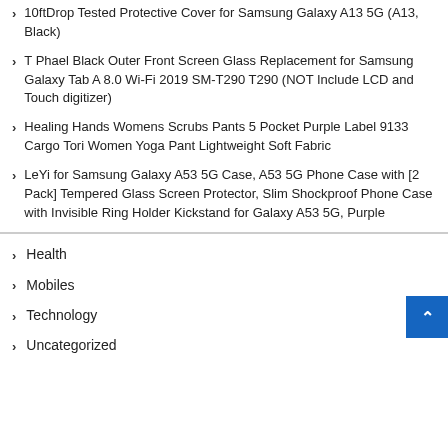10ftDrop Tested Protective Cover for Samsung Galaxy A13 5G (A13, Black)
T Phael Black Outer Front Screen Glass Replacement for Samsung Galaxy Tab A 8.0 Wi-Fi 2019 SM-T290 T290 (NOT Include LCD and Touch digitizer)
Healing Hands Womens Scrubs Pants 5 Pocket Purple Label 9133 Cargo Tori Women Yoga Pant Lightweight Soft Fabric
LeYi for Samsung Galaxy A53 5G Case, A53 5G Phone Case with [2 Pack] Tempered Glass Screen Protector, Slim Shockproof Phone Case with Invisible Ring Holder Kickstand for Galaxy A53 5G, Purple
Health
Mobiles
Technology
Uncategorized